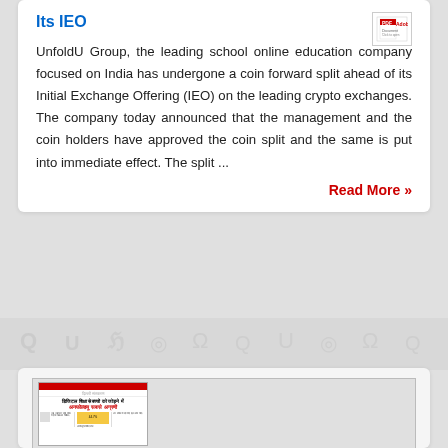Its IEO
UnfoldU Group, the leading school online education company focused on India has undergone a coin forward split ahead of its Initial Exchange Offering (IEO) on the leading crypto exchanges. The company today announced that the management and the coin holders have approved the coin split and the same is put into immediate effect. The split ...
Read More »
[Figure (photo): Newspaper article thumbnail in Hindi script showing a headline about UnfoldU digital education with a red header bar and multi-column text layout]